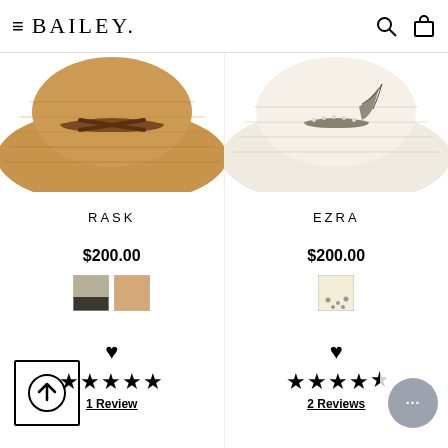BAILEY
[Figure (photo): Two straw cowboy hats from above: left is tan/natural with leather strap, right is cream/white with feather accent]
RASK
EZRA
$200.00
$200.00
[Figure (photo): Two color swatches for RASK: sage/dark and tan]
[Figure (photo): One color swatch for EZRA: cream/white with dots]
♥
♥
★★★★★ 1 Review
★★★★½ 2 Reviews